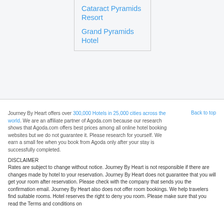Cataract Pyramids Resort
Grand Pyramids Hotel
Journey By Heart offers over 300,000 Hotels in 25,000 cities across the world. We are an affiliate partner of Agoda.com because our research shows that Agoda.com offers best prices among all online hotel booking websites but we do not guarantee it. Please research for yourself. We earn a small fee when you book from Agoda only after your stay is successfully completed.
Back to top
DISCLAIMER
Rates are subject to change without notice. Journey By Heart is not responsible if there are changes made by hotel to your reservation. Journey By Heart does not guarantee that you will get your room after reservation. Please check with the company that sends you the confirmation email. Journey By Heart also does not offer room bookings. We help travelers find suitable rooms. Hotel reserves the right to deny you room. Please make sure that you read the Terms and conditions on